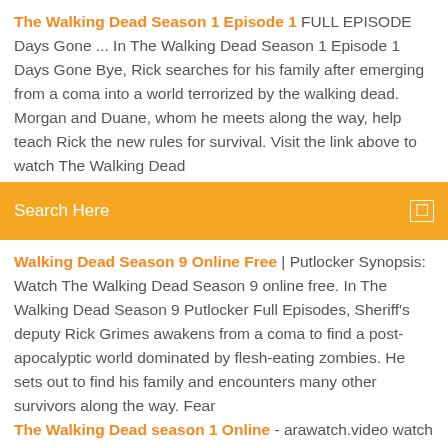The Walking Dead Season 1 Episode 1 FULL EPISODE Days Gone ... In The Walking Dead Season 1 Episode 1 Days Gone Bye, Rick searches for his family after emerging from a coma into a world terrorized by the walking dead. Morgan and Duane, whom he meets along the way, help teach Rick the new rules for survival. Visit the link above to watch The Walking Dead
Search Here
Walking Dead Season 9 Online Free | Putlocker Synopsis: Watch The Walking Dead Season 9 online free. In The Walking Dead Season 9 Putlocker Full Episodes, Sheriff's deputy Rick Grimes awakens from a coma to find a post-apocalyptic world dominated by flesh-eating zombies. He sets out to find his family and encounters many other survivors along the way. Fear The Walking Dead season 1 Online - arawatch.video watch all episodes Fear The Walking Dead season 1 complete . watchmovies at 123movies english high quality hd 720p Fear